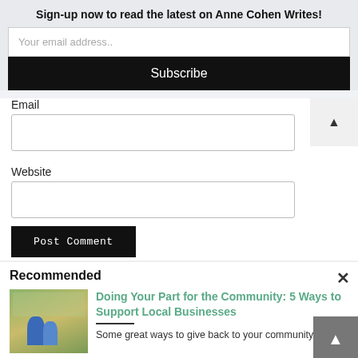Sign-up now to read the latest on Anne Cohen Writes!
Your email address..
Subscribe
Email
Website
Post Comment
Recommended
Doing Your Part for the Community: 5 Ways to Support Local Businesses
Some great ways to give back to your community.